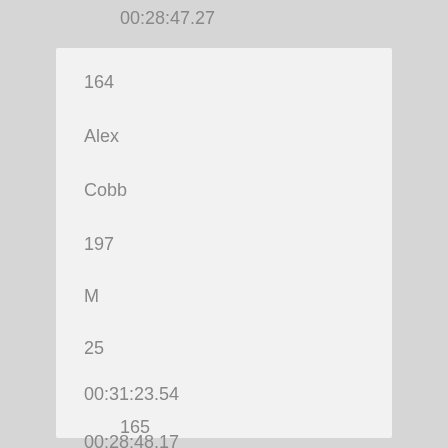00:28:47.27
| 164 |
| Alex |
| Cobb |
| 197 |
| M |
| 25 |
| 00:31:23.54 |
| 00:28:48.17 |
165